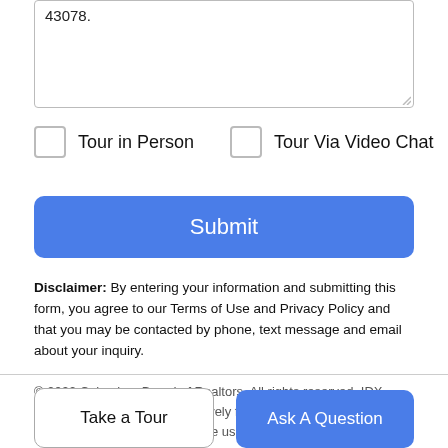43078.
Tour in Person
Tour Via Video Chat
Submit
Disclaimer: By entering your information and submitting this form, you agree to our Terms of Use and Privacy Policy and that you may be contacted by phone, text message and email about your inquiry.
© 2022 Columbus Board of Realtors. All rights reserved. IDX information is provided exclusively for consumers' personal, non-commercial use and may not be used for any purpose other than
Take a Tour
Ask A Question